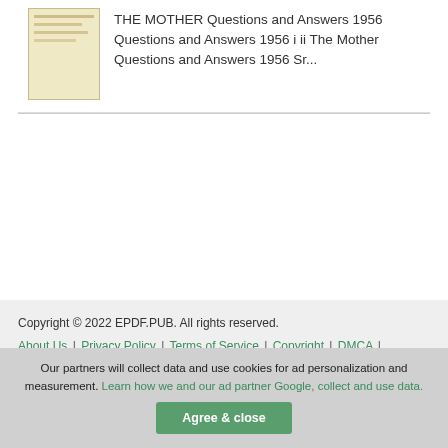[Figure (illustration): Book thumbnail cover showing a cream/yellow colored book]
THE MOTHER Questions and Answers 1956 Questions and Answers 1956 i ii The Mother Questions and Answers 1956 Sr...
Copyright © 2022 EPDF.PUB. All rights reserved. About Us | Privacy Policy | Terms of Service | Copyright | DMCA | Contact Us | Cookie Policy
Our partners will collect data and use cookies for ad personalization and measurement. Learn how we and our ad partner Google, collect and use data.
Agree & close